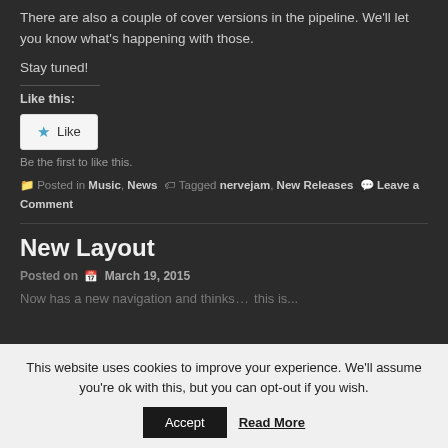There are also a couple of cover versions in the pipeline. We'll let you know what's happening with those.
Stay tuned!
Like this:
[Figure (other): Like button widget with star icon and 'Like' text, followed by 'Be the first to like this.']
Posted in Music, News  Tagged nervejam, New Releases  Leave a Comment
New Layout
Posted on  March 19, 2015
Now has a new navigation and thinks... this is...
This website uses cookies to improve your experience. We'll assume you're ok with this, but you can opt-out if you wish. Accept  Read More